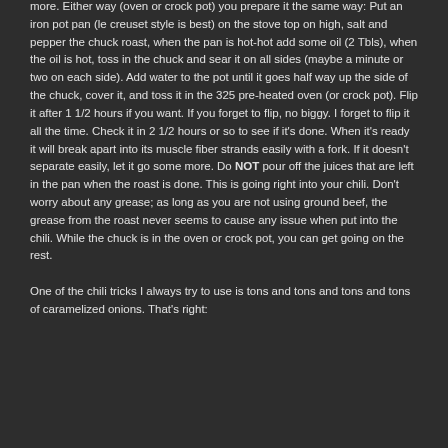more. Either way (oven or crock pot) you prepare it the same way: Put an iron pot pan (le creuset style is best) on the stove top on high, salt and pepper the chuck roast, when the pan is hot-hot add some oil (2 Tbls), when the oil is hot, toss in the chuck and sear it on all sides (maybe a minute or two on each side). Add water to the pot until it goes half way up the side of the chuck, cover it, and toss it in the 325 pre-heated oven (or crock pot). Flip it after 1 1/2 hours if you want. If you forget to flip, no biggy. I forget to flip it all the time. Check it in 2 1/2 hours or so to see if it's done. When it's ready it will break apart into its muscle fiber strands easily with a fork. If it doesn't separate easily, let it go some more. Do NOT pour off the juices that are left in the pan when the roast is done. This is going right into your chili. Don't worry about any grease; as long as you are not using ground beef, the grease from the roast never seems to cause any issue when put into the chili. While the chuck is in the oven or crock pot, you can get going on the rest.
One of the chili tricks I always try to use is tons and tons and tons and tons of caramelized onions. That's right: